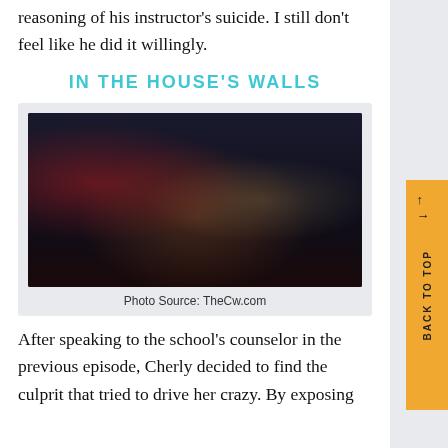better life, but he still has to solve the reasoning of his instructor's suicide. I still don't feel like he did it willingly.
IN THE HOUSE'S WALLS
[Figure (photo): Dark scene with several people sitting in a room, a woman with red hair in the center foreground wearing black clothing, others in background in a dimly lit setting.]
Photo Source: TheCw.com
After speaking to the school's counselor in the previous episode, Cherly decided to find the culprit that tried to drive her crazy. By exposing